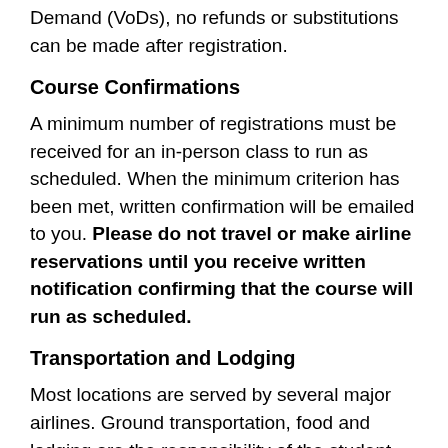Demand (VoDs), no refunds or substitutions can be made after registration.
Course Confirmations
A minimum number of registrations must be received for an in-person class to run as scheduled. When the minimum criterion has been met, written confirmation will be emailed to you. Please do not travel or make airline reservations until you receive written notification confirming that the course will run as scheduled.
Transportation and Lodging
Most locations are served by several major airlines. Ground transportation, food and lodging are the responsibility of the student. Special rates have been negotiated at select hotels in Jacksonville for IRTM students. For more